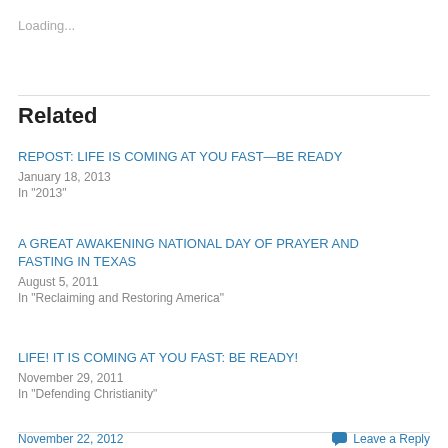Loading...
Related
REPOST: LIFE IS COMING AT YOU FAST—BE READY
January 18, 2013
In "2013"
A GREAT AWAKENING NATIONAL DAY OF PRAYER AND FASTING IN TEXAS
August 5, 2011
In "Reclaiming and Restoring America"
LIFE! IT IS COMING AT YOU FAST: BE READY!
November 29, 2011
In "Defending Christianity"
November 22, 2012   Leave a Reply